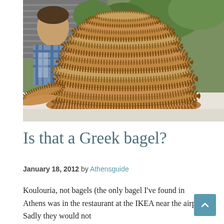[Figure (photo): A large stack of sesame-covered koulouria (Greek ring-shaped bread) piled high on a market table, with a man in a plaid shirt visible behind them, and green trees in the background.]
Is that a Greek bagel?
January 18, 2012 by Athensguide
Koulouria, not bagels (the only bagel I've found in Athens was in the restaurant at the IKEA near the airport. Sadly they would not